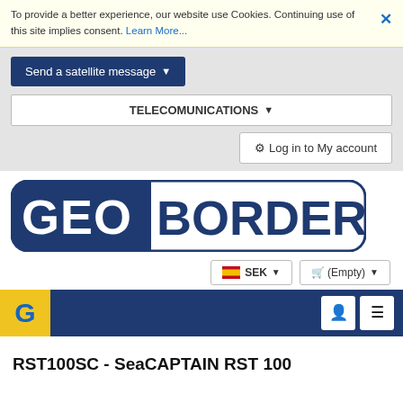To provide a better experience, our website use Cookies. Continuing use of this site implies consent. Learn More...
Send a satellite message ▾
TELECOMUNICATIONS ▾
⚙ Log in to My account
[Figure (logo): GeoBorders logo — 'GEO' in white on navy blue rectangle, 'BORDERS' in navy blue on white with navy border, rounded rectangle overall]
SEK ▾
🛒 (Empty) ▾
[Figure (screenshot): Mobile navigation bar: yellow G logo on left, white user icon and hamburger menu icon on right, navy blue background]
RST100SC - SeaCAPTAIN RST 100